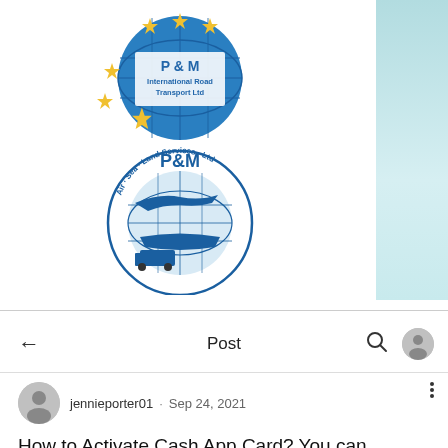[Figure (logo): P&M International Road Transport Ltd logo - blue globe with gold stars and white text]
[Figure (logo): P&M Air Sea Land Services Ltd logo - blue illustration with globe, airplane, ship and truck]
[Figure (screenshot): Hamburger menu icon (three horizontal lines)]
Post
jennieporter01 · Sep 24, 2021
How to Activate Cash App Card? You can activate the Cash app card through